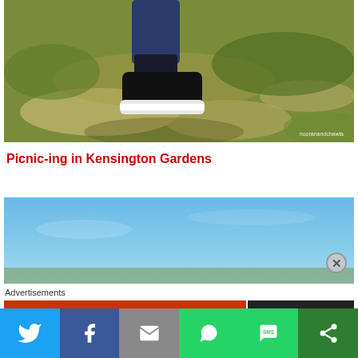[Figure (photo): Close-up photo of feet wearing black sneakers with white soles, standing on patchy grass and dry ground, watermark 'nooranandchawla' in bottom right]
Picnic-ing in Kensington Gardens
[Figure (photo): Photo showing blue sky with a small strip of grass at the bottom]
Advertisements
[Figure (screenshot): Social media sharing bar with Twitter, Facebook, Email, WhatsApp, SMS, and More buttons]